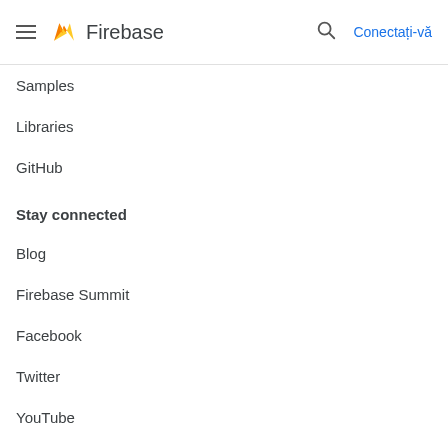Firebase — Conectați-vă
Samples
Libraries
GitHub
Stay connected
Blog
Firebase Summit
Facebook
Twitter
YouTube
Support
Contact support